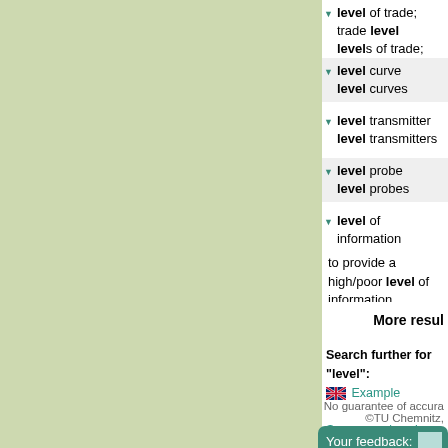level of trade; trade level / levels of trade; trade levels
level curve / level curves
level transmitter / level transmitters
level probe / level probes
level of information / to provide a high/poor level of information
More resul
Search further for "level": Example sentences | Synonyms / explana Wikipedia | Google: Web search
No guarantee of accura ©TU Chemnitz,
Your feedback: